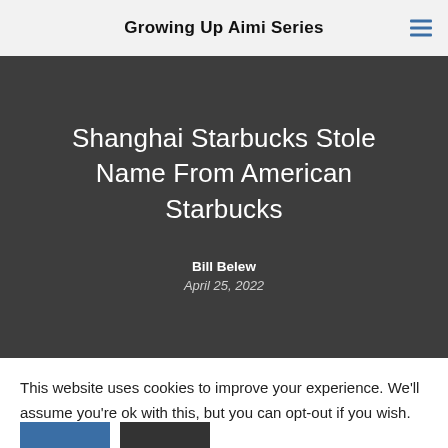Growing Up Aimi Series
Shanghai Starbucks Stole Name From American Starbucks
Bill Belew
April 25, 2022
This website uses cookies to improve your experience. We'll assume you're ok with this, but you can opt-out if you wish.